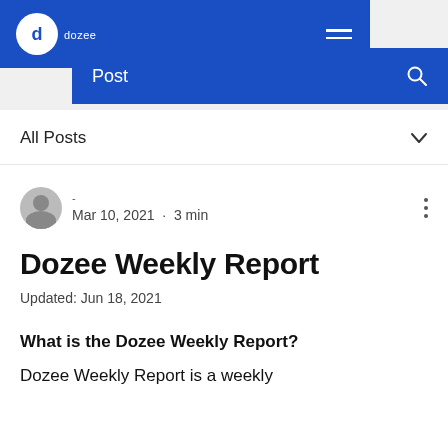dozee — navigation bar with logo and hamburger menu
Post
All Posts
· Mar 10, 2021 · 3 min
Dozee Weekly Report
Updated: Jun 18, 2021
What is the Dozee Weekly Report?
Dozee Weekly Report is a weekly